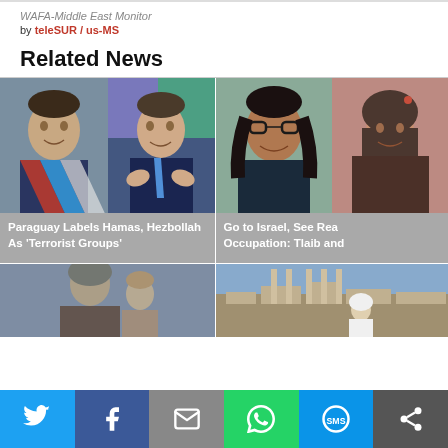WAFA-Middle East Monitor
by teleSUR / us-MS
Related News
[Figure (photo): Two men in suits; left man wearing a presidential sash, right man clapping in front of a colorful background - related to Paraguay Labels Hamas, Hezbollah As 'Terrorist Groups']
Paraguay Labels Hamas, Hezbollah As 'Terrorist Groups'
[Figure (photo): Two women smiling; left woman with glasses and dark curly hair, right woman wearing a hijab - related to Go to Israel, See Real Occupation: Tlaib and...]
Go to Israel, See Real Occupation: Tlaib and
[Figure (photo): Older woman with a young child - partial image at bottom left]
[Figure (photo): Woman in white hijab standing in front of stone ruins - partial image at bottom right]